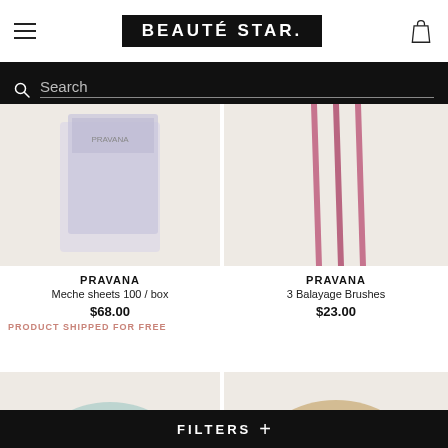BEAUTÉ STAR.
Search
[Figure (photo): Product image of Pravana Meche sheets box on cream background]
[Figure (photo): Product image of Pravana 3 Balayage Brushes on cream background, showing pink/purple brush handles]
PRAVANA
Meche sheets 100 / box
$68.00
PRODUCT SHIPPED FOR FREE
PRAVANA
3 Balayage Brushes
$23.00
[Figure (photo): Partial product image, teal/blue color on cream background]
[Figure (photo): Partial product image, gold/brown color on cream background]
FILTERS +